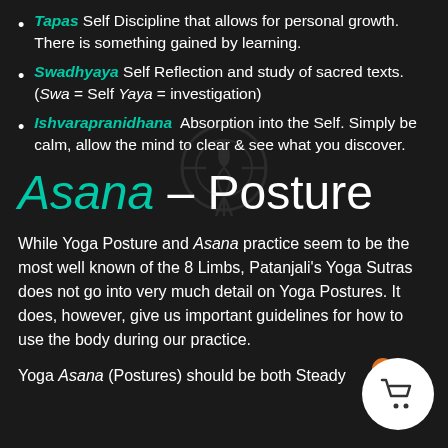Tapas Self Discipline that allows for personal growth. There is something gained by learning.
Swadhyaya Self Reflection and study of sacred texts. (Swa = Self Yaya = investigation)
Ishvarapranidhana Absorption into the Self. Simply be calm, allow the mind to clear & see what you discover.
Asana – Posture
While Yoga Posture and Asana practice seem to be the most well known of the 8 Limbs, Patanjali's Yoga Sutras does not go into very much detail on Yoga Postures. It does, however, give us important guidelines for how to use the body during our practice.
Yoga Asana (Postures) should be both Steady